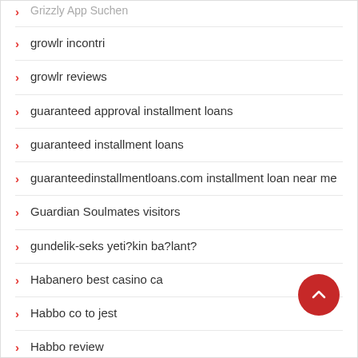growlr incontri
growlr reviews
guaranteed approval installment loans
guaranteed installment loans
guaranteedinstallmentloans.com installment loan near me
Guardian Soulmates visitors
gundelik-seks yeti?kin ba?lant?
Habanero best casino ca
Habbo co to jest
Habbo review
Habbo see the site
haciendo amigos consejos
hampton eros escort
happn Anmeldung